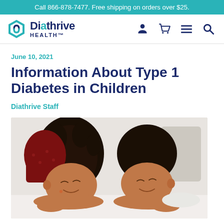Call 866-878-7477. Free shipping on orders over $25.
[Figure (logo): Diathrive Health logo with teal hexagonal icon and navy blue text]
June 10, 2021
Information About Type 1 Diabetes in Children
Diathrive Staff
[Figure (photo): Two children lying down with heads resting on their hands, eyes closed, one girl in red dress on left and one boy in white shirt on right]